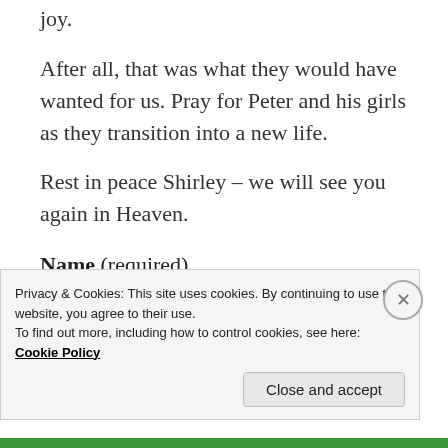joy.
After all, that was what they would have wanted for us. Pray for Peter and his girls as they transition into a new life.
Rest in peace Shirley – we will see you again in Heaven.
Name (required)
Privacy & Cookies: This site uses cookies. By continuing to use this website, you agree to their use.
To find out more, including how to control cookies, see here: Cookie Policy